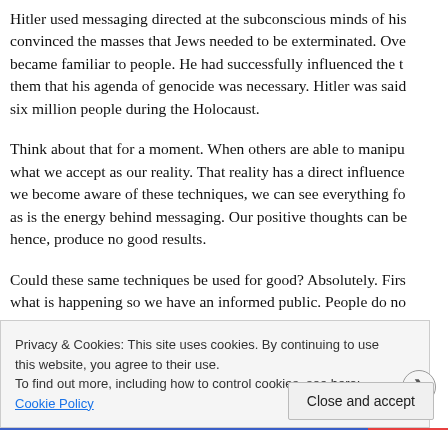Hitler used messaging directed at the subconscious minds of his convinced the masses that Jews needed to be exterminated. Ove became familiar to people. He had successfully influenced the t them that his agenda of genocide was necessary. Hitler was said six million people during the Holocaust.
Think about that for a moment. When others are able to manipu what we accept as our reality. That reality has a direct influence we become aware of these techniques, we can see everything fo as is the energy behind messaging. Our positive thoughts can be hence, produce no good results.
Could these same techniques be used for good? Absolutely. Firs what is happening so we have an informed public. People do no
Privacy & Cookies: This site uses cookies. By continuing to use this website, you agree to their use.
To find out more, including how to control cookies, see here: Cookie Policy